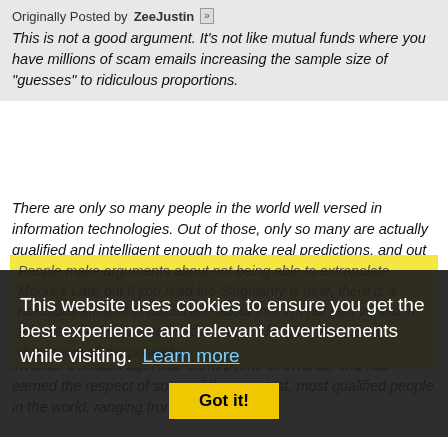Originally Posted by ZeeJustin
This is not a good argument. It's not like mutual funds where you have millions of scam emails increasing the sample size of "guesses" to ridiculous proportions.
There are only so many people in the world well versed in information technologies. Out of those, only so many are actually qualified and intelligent enough to make real predictions, and out of those, only so many do make predictions.
Kurzweil is one of few extremely qualified, extremely intelligent people, and he's been at the forefront of this game for many, many rounds of guesses. He has proven himself as a brilliant inventor decades ago, has earned tons of awards, and has earned the respect of some of the smartest, most qualified people in the world, ranging from
This website uses cookies to ensure you get the best experience and relevant advertisements while visiting.  Learn more
Got it!
People make arguments about not being able to extrapolate Moore's Law, but if you read the Singularity is near, there is a ridiculous amount of discussion about this. I'm not well versed in this area, so forgive me in advance, but he goes into detail discussing all the possible